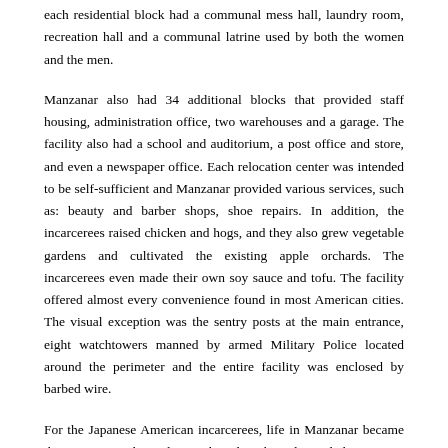each residential block had a communal mess hall, laundry room, recreation hall and a communal latrine used by both the women and the men.
Manzanar also had 34 additional blocks that provided staff housing, administration office, two warehouses and a garage. The facility also had a school and auditorium, a post office and store, and even a newspaper office. Each relocation center was intended to be self-sufficient and Manzanar provided various services, such as: beauty and barber shops, shoe repairs. In addition, the incarcerees raised chicken and hogs, and they also grew vegetable gardens and cultivated the existing apple orchards. The incarcerees even made their own soy sauce and tofu. The facility offered almost every convenience found in most American cities. The visual exception was the sentry posts at the main entrance, eight watchtowers manned by armed Military Police located around the perimeter and the entire facility was enclosed by barbed wire.
For the Japanese American incarcerees, life in Manzanar became their new normal. Meals were based on the military daily rations, and...